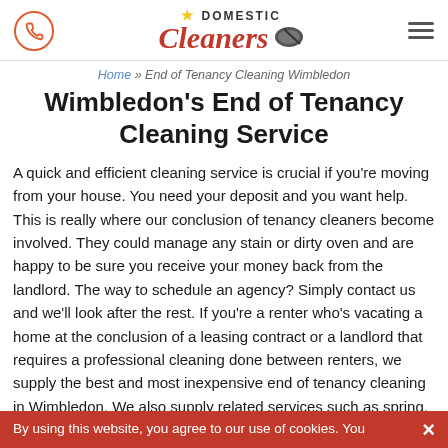Domestic Cleaners logo with phone icon and hamburger menu
Home » End of Tenancy Cleaning Wimbledon
Wimbledon's End of Tenancy Cleaning Service
A quick and efficient cleaning service is crucial if you're moving from your house. You need your deposit and you want help. This is really where our conclusion of tenancy cleaners become involved. They could manage any stain or dirty oven and are happy to be sure you receive your money back from the landlord. The way to schedule an agency? Simply contact us and we'll look after the rest. If you're a renter who's vacating a home at the conclusion of a leasing contract or a landlord that requires a professional cleaning done between renters, we supply the best and most inexpensive end of tenancy cleaning in Wimbledon. We also supply related services such as spring.
By using this website, you agree to our use of cookies. You